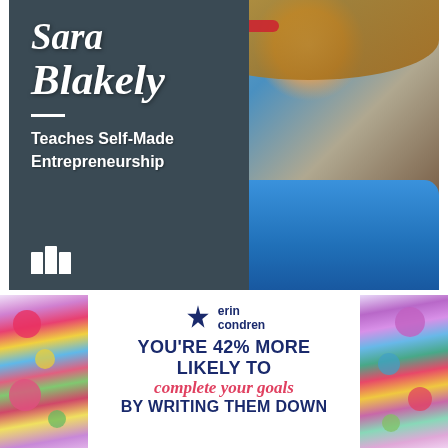[Figure (photo): MasterClass ad featuring Sara Blakely. Dark teal/slate background on left with white italic text reading 'Sara Blakely' and 'Teaches Self-Made Entrepreneurship' with a white dash separator. Right side shows photo of smiling blonde woman in blue sweater. White MasterClass 'M' logo at bottom left.]
[Figure (advertisement): Erin Condren advertisement. White center panel with Erin Condren logo (dark blue starburst icon + brand name). Bold dark blue text: 'YOU'RE 42% MORE LIKELY TO' followed by italic red text 'complete your goals' and dark blue text 'BY WRITING THEM DOWN'. Decorative floral panels on left and right sides.]